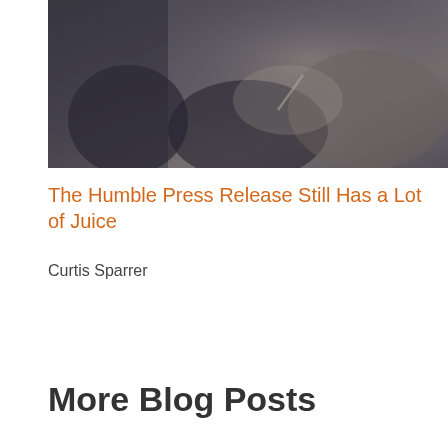[Figure (photo): Grayscale/muted photo of people sitting, writing in notebooks, taken from the side at a conference or event setting.]
The Humble Press Release Still Has a Lot of Juice
Curtis Sparrer
More Blog Posts